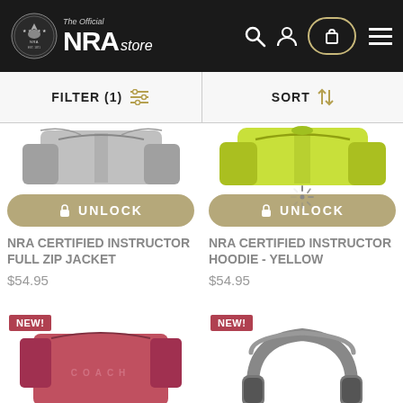[Figure (screenshot): NRA Store website header with logo, search icon, account icon, cart button, and hamburger menu on dark background]
FILTER (1)
SORT
NRA CERTIFIED INSTRUCTOR FULL ZIP JACKET
$54.95
NRA CERTIFIED INSTRUCTOR HOODIE - YELLOW
$54.95
NEW!
COACH
NEW!